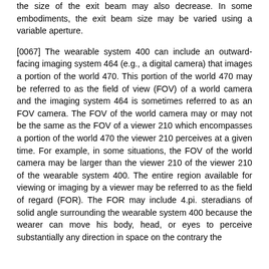the size of the exit beam may also decrease. In some embodiments, the exit beam size may be varied using a variable aperture.
[0067] The wearable system 400 can include an outward-facing imaging system 464 (e.g., a digital camera) that images a portion of the world 470. This portion of the world 470 may be referred to as the field of view (FOV) of a world camera and the imaging system 464 is sometimes referred to as an FOV camera. The FOV of the world camera may or may not be the same as the FOV of a viewer 210 which encompasses a portion of the world 470 the viewer 210 perceives at a given time. For example, in some situations, the FOV of the world camera may be larger than the viewer 210 of the viewer 210 of the wearable system 400. The entire region available for viewing or imaging by a viewer may be referred to as the field of regard (FOR). The FOR may include 4.pi. steradians of solid angle surrounding the wearable system 400 because the wearer can move his body, head, or eyes to perceive substantially any direction in space on the contrary the